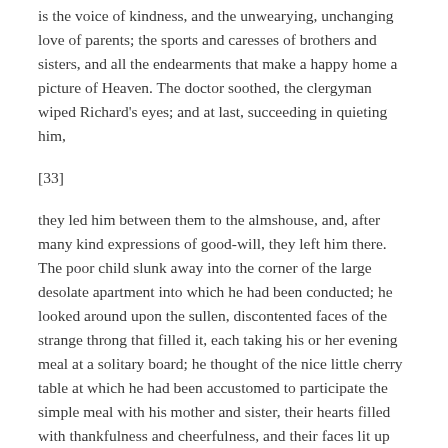is the voice of kindness, and the unwearying, unchanging love of parents; the sports and caresses of brothers and sisters, and all the endearments that make a happy home a picture of Heaven. The doctor soothed, the clergyman wiped Richard's eyes; and at last, succeeding in quieting him,
[33]
they led him between them to the almshouse, and, after many kind expressions of good-will, they left him there. The poor child slunk away into the corner of the large desolate apartment into which he had been conducted; he looked around upon the sullen, discontented faces of the strange throng that filled it, each taking his or her evening meal at a solitary board; he thought of the nice little cherry table at which he had been accustomed to participate the simple meal with his mother and sister, their hearts filled with thankfulness and cheerfulness, and their faces lit up with smiles. He did not, perhaps, institute precisely the comparison we have made, but it was the change--the change--that struck upon his heart. “I can’t--I won’t stay here,” he said to